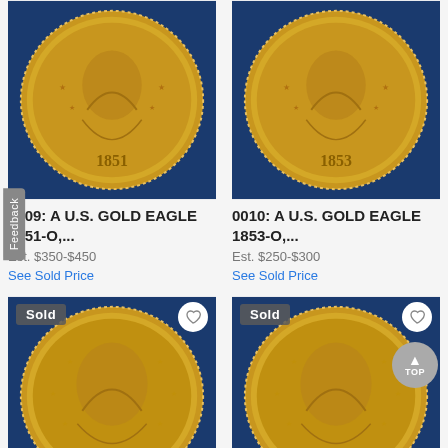[Figure (photo): U.S. Gold Eagle coin 1851-O (top left), gold coin in blue holder]
[Figure (photo): U.S. Gold Eagle coin 1853-O (top right), gold coin in blue holder]
0009: A U.S. GOLD EAGLE 1851-O,...
Est. $350-$450
See Sold Price
0010: A U.S. GOLD EAGLE 1853-O,...
Est. $250-$300
See Sold Price
[Figure (photo): U.S. Gold Eagle coin 1888-O (bottom left), gold coin with Sold badge, blue holder]
[Figure (photo): Two U.S. Gold Eagles 1891 (bottom right), gold coin with Sold badge, blue holder]
0011: A U.S. GOLD EAGLE 1888-O...
0012: TWO U.S. GOLD EAGLES,...